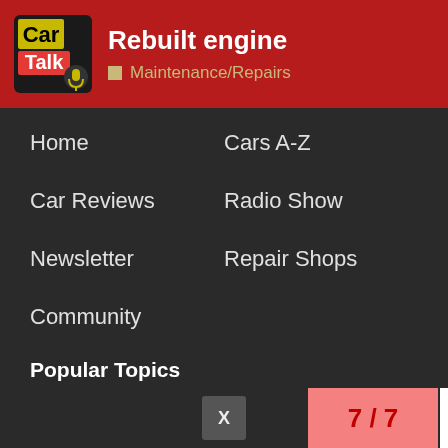Rebuilt engine — Maintenance/Repairs
Home
Cars A-Z
Car Reviews
Radio Show
Newsletter
Repair Shops
Community
Popular Topics
Warranties
Tires
Car Shipping
Driver's Ed
Car Buying
Deals
Oil Change
Radio Show
Car Insurance
7 / 7